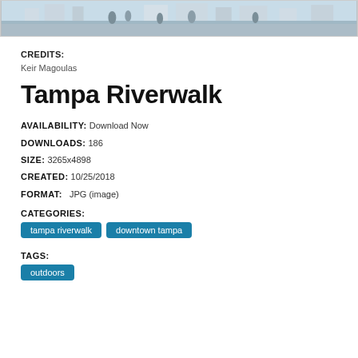[Figure (photo): A horizontal banner photo showing people walking along the Tampa Riverwalk waterfront area with a cityscape in the background.]
CREDITS:
Keir Magoulas
Tampa Riverwalk
AVAILABILITY: Download Now
DOWNLOADS: 186
SIZE: 3265x4898
CREATED: 10/25/2018
FORMAT: JPG (image)
CATEGORIES:
tampa riverwalk
downtown tampa
TAGS:
outdoors